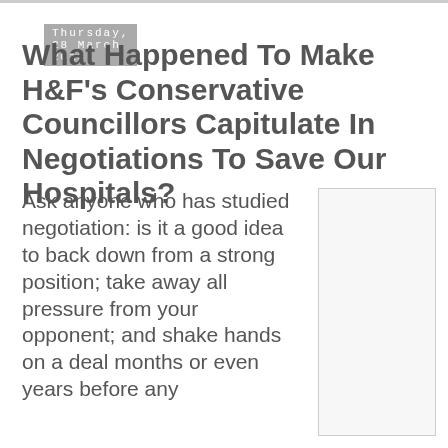Thursday, 28 March 2013
What Happened To Make H&F's Conservative Councillors Capitulate In Negotiations To Save Our Hospitals?
Ask anyone who has studied negotiation: is it a good idea to back down from a strong position; take away all pressure from your opponent; and shake hands on a deal months or even years before any
[Figure (photo): An image placeholder box with light gray background and border, positioned to the right of the text column.]